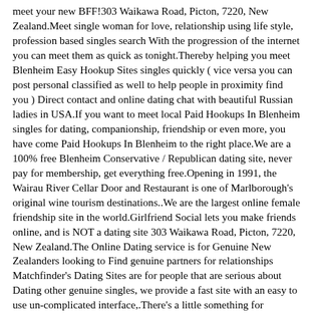meet your new BFF!303 Waikawa Road, Picton, 7220, New Zealand.Meet single woman for love, relationship using life style, profession based singles search With the progression of the internet you can meet them as quick as tonight.Thereby helping you meet Blenheim Easy Hookup Sites singles quickly ( vice versa you can post personal classified as well to help people in proximity find you ) Direct contact and online dating chat with beautiful Russian ladies in USA.If you want to meet local Paid Hookups In Blenheim singles for dating, companionship, friendship or even more, you have come Paid Hookups In Blenheim to the right place.We are a 100% free Blenheim Conservative / Republican dating site, never pay for membership, get everything free.Opening in 1991, the Wairau River Cellar Door and Restaurant is one of Marlborough's original wine tourism destinations..We are the largest online female friendship site in the world.Girlfriend Social lets you make friends online, and is NOT a dating site 303 Waikawa Road, Picton, 7220, New Zealand.The Online Dating service is for Genuine New Zealanders looking to Find genuine partners for relationships Matchfinder's Dating Sites are for people that are serious about Dating other genuine singles, we provide a fast site with an easy to use un-complicated interface,.There's a little something for everybody at Loveawake.Nowadays, interracial dating is no longer something unusual or extraordinary.Send a message to other local ladies and meet your new BFF!100% free to join, 100% free messaging Connect with lesbian singles and gay.